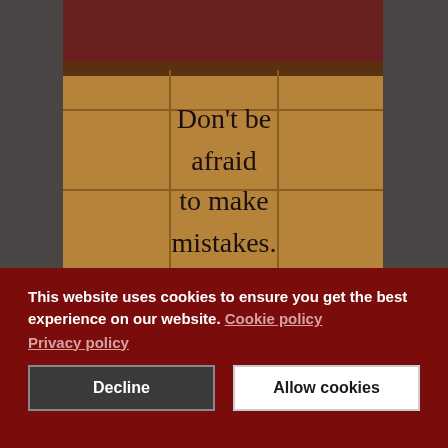[Figure (illustration): Illustration of a wooden crate or box with text 'Don't be afraid to make mistakes.' written on it, set against a dark gray background. The box has brown wooden planks and darker brown borders.]
This website uses cookies to ensure you get the best experience on our website. Cookie policy
Privacy policy
Decline
Allow cookies